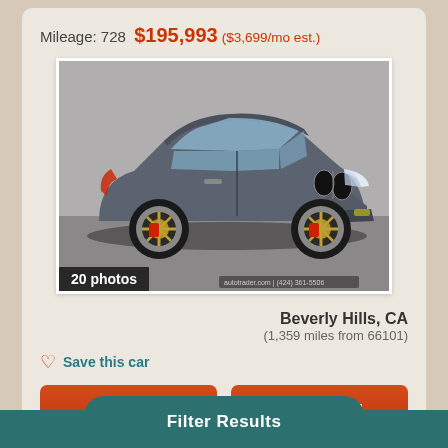Mileage: 728  $195,993 ($3,699/mo est.)
[Figure (photo): Gray BMW M5 sedan front 3/4 view on white background, with '20 photos' label overlay]
Beverly Hills, CA
(1,359 miles from 66101)
Save this car
Call
Email
Filter Results